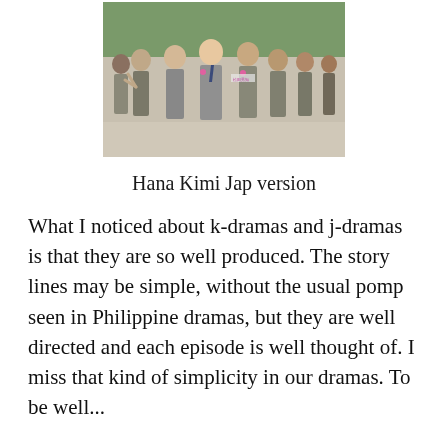[Figure (photo): Group photo of young people in school uniforms, appears to be from a Japanese drama (Hana Kimi)]
Hana Kimi Jap version
What I noticed about k-dramas and j-dramas is that they are so well produced. The story lines may be simple, without the usual pomp seen in Philippine dramas, but they are well directed and each episode is well thought of. I miss that kind of simplicity in our dramas. To be well...